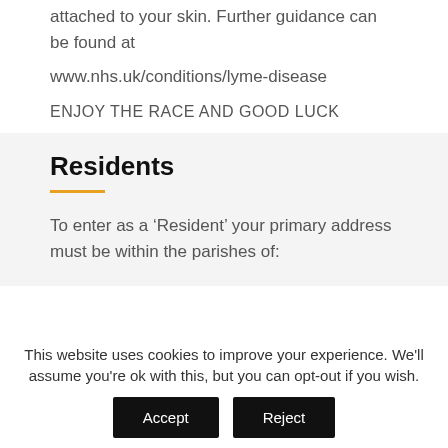attached to your skin. Further guidance can be found at
www.nhs.uk/conditions/lyme-disease
ENJOY THE RACE AND GOOD LUCK
Residents
To enter as a ‘Resident’ your primary address must be within the parishes of:
This website uses cookies to improve your experience. We'll assume you're ok with this, but you can opt-out if you wish.